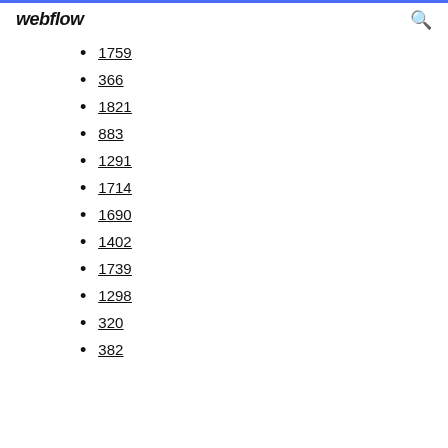webflow
1759
366
1821
883
1291
1714
1690
1402
1739
1298
320
382